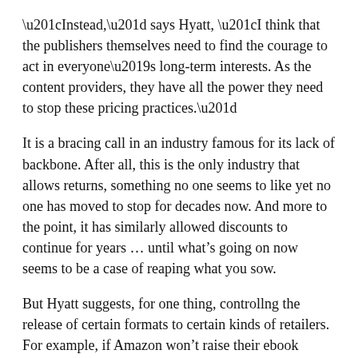“Instead,” says Hyatt, “I think that the publishers themselves need to find the courage to act in everyone’s long-term interests. As the content providers, they have all the power they need to stop these pricing practices.”
It is a bracing call in an industry famous for its lack of backbone. After all, this is the only industry that allows returns, something no one seems to like yet no one has moved to stop for decades now. And more to the point, it has similarly allowed discounts to continue for years … until what’s going on now seems to be a case of reaping what you sow.
But Hyatt suggests, for one thing, controllng the release of certain formats to certain kinds of retailers. For example, if Amazon won’t raise their ebook prices to reflect the costs of front list titles, he says “we as publishers should delay the release of eBooks and think of them more as a digital mass market product.”
However, he’s got something even more radical up his